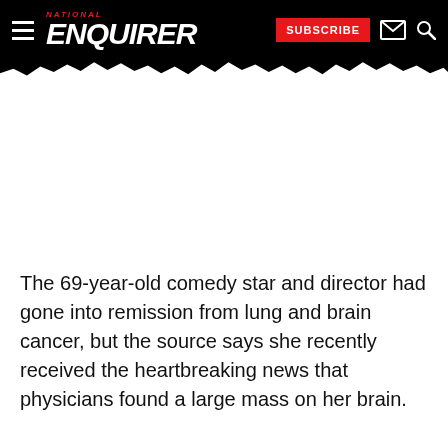National Enquirer — SUBSCRIBE
[Figure (photo): Image area — photo placeholder, white/blank]
The 69-year-old comedy star and director had gone into remission from lung and brain cancer, but the source says she recently received the heartbreaking news that physicians found a large mass on her brain.